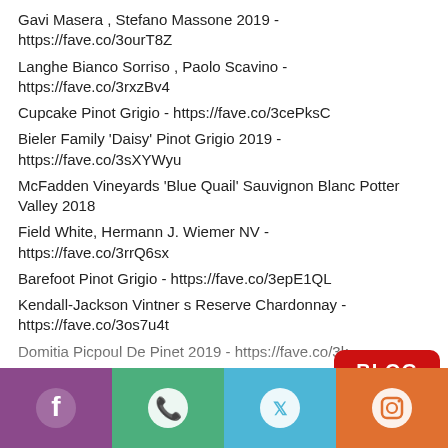Gavi Masera , Stefano Massone 2019 - https://fave.co/3ourT8Z
Langhe Bianco Sorriso , Paolo Scavino - https://fave.co/3rxzBv4
Cupcake Pinot Grigio - https://fave.co/3cePksC
Bieler Family 'Daisy' Pinot Grigio 2019 - https://fave.co/3sXYWyu
McFadden Vineyards 'Blue Quail' Sauvignon Blanc Potter Valley 2018
Field White, Hermann J. Wiemer NV - https://fave.co/3rrQ6sx
Barefoot Pinot Grigio - https://fave.co/3epE1QL
Kendall-Jackson Vintner s Reserve Chardonnay - https://fave.co/3os7u4t
Domitia Picpoul De Pinet 2019 - https://fave.co/3k...
Vin de Savoie 'Abymes', Domaine Labbe 2019 - https://fave.co/3qA...